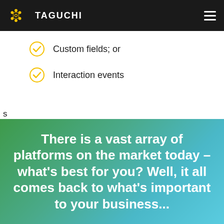TAGUCHI
Custom fields; or
Interaction events
s
There is a vast array of platforms on the market today – what's best for you? Well, it all comes back to what's important to your business...